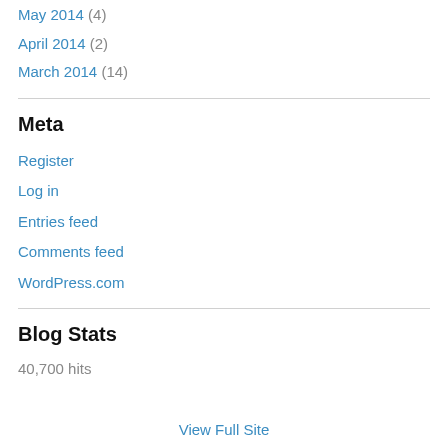May 2014 (4)
April 2014 (2)
March 2014 (14)
Meta
Register
Log in
Entries feed
Comments feed
WordPress.com
Blog Stats
40,700 hits
View Full Site